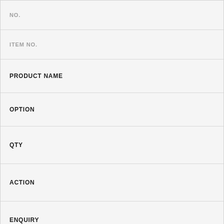| NO. |
| ITEM NO. |
| PRODUCT NAME |
| OPTION |
| QTY |
| ACTION |
| ENQUIRY |
| NO. |
| ITEM NO. |
| PRODUCT NAME |